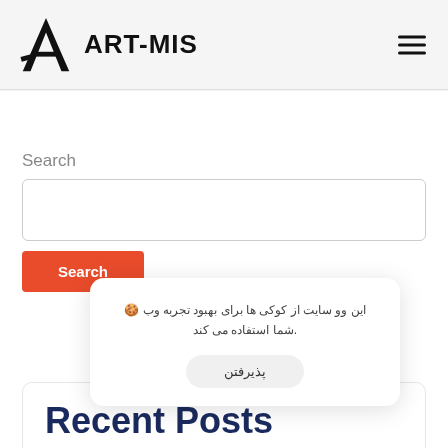ART-MIS
Search
این وو سایت از کوکی ها برای بهبود تجربه وب شما استفاده می کند.
پذیرفتن
Recent Posts